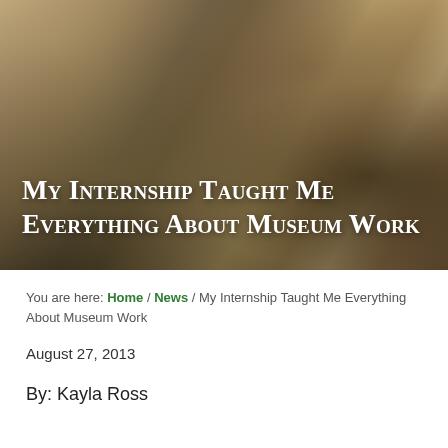[Figure (photo): A painting-style hero image with warm tan, gold, and dark brown tones resembling a classical artwork, overlaid with a large title text.]
My Internship Taught Me Everything About Museum Work
You are here: Home / News / My Internship Taught Me Everything About Museum Work
August 27, 2013
By: Kayla Ross